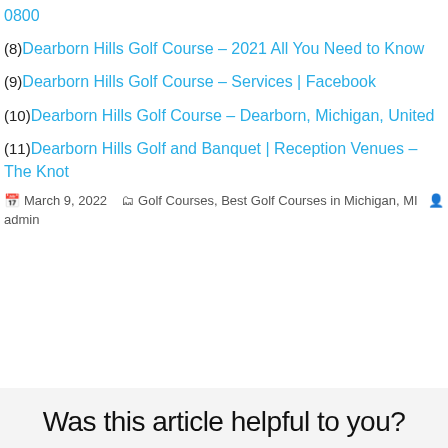0800
(8) Dearborn Hills Golf Course – 2021 All You Need to Know
(9) Dearborn Hills Golf Course – Services | Facebook
(10) Dearborn Hills Golf Course – Dearborn, Michigan, United
(11) Dearborn Hills Golf and Banquet | Reception Venues – The Knot
March 9, 2022   Golf Courses, Best Golf Courses in Michigan, MI   admin
Was this article helpful to you?